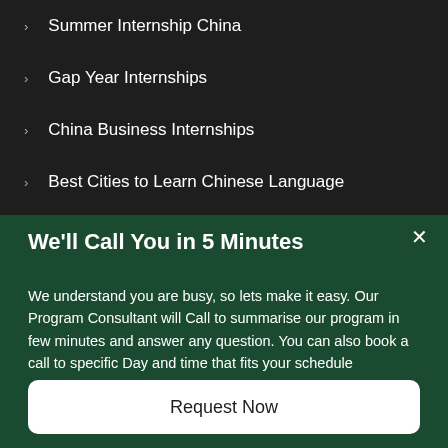Summer Internship China
Gap Year Internships
China Business Internships
Best Cities to Learn Chinese Language
Learn Chinese in China
We'll Call You in 5 Minutes
We understand you are busy, so lets make it easy. Our Program Consultant will Call to summarise our program in few minutes and answer any question. You can also book a call to specific Day and time that fits your schedule
Request Now